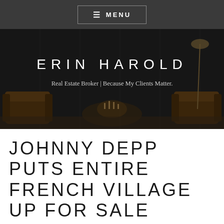≡ MENU
[Figure (photo): Dark interior room with brown leather Chesterfield armchairs, candles on a central table, dark paneled walls, and a brass floor lamp. Overlay text reads 'ERIN HAROLD' and 'Real Estate Broker | Because My Clients Matter.']
ERIN HAROLD
Real Estate Broker | Because My Clients Matter.
JOHNNY DEPP PUTS ENTIRE FRENCH VILLAGE UP FOR SALE